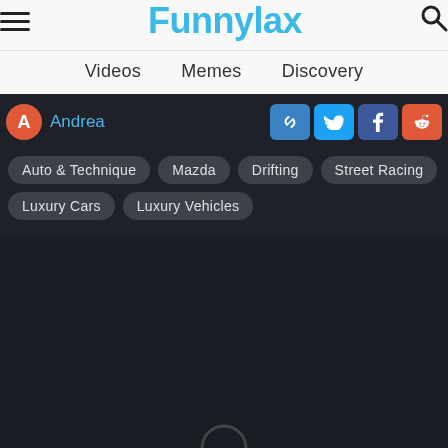Funnylax
Videos
Memes
Discovery
Andrea
Auto & Technique
Mazda
Drifting
Street Racing
Luxury Cars
Luxury Vehicles